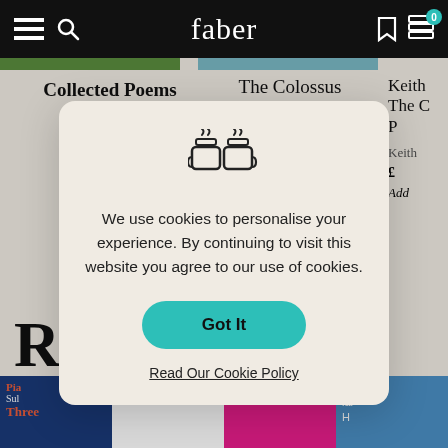faber
Collected Poems of Edward Thomas
The Colossus
Sylvia Plath
£10.99
We use cookies to personalise your experience. By continuing to visit this website you agree to our use of cookies.
Got It
Read Our Cookie Policy